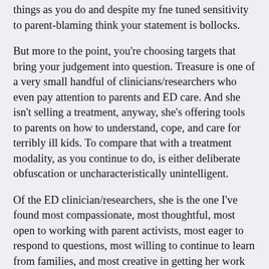things as you do and despite my fne tuned sensitivity to parent-blaming think your statement is bollocks.
But more to the point, you're choosing targets that bring your judgement into question. Treasure is one of a very small handful of clinicians/researchers who even pay attention to parents and ED care. And she isn't selling a treatment, anyway, she's offering tools to parents on how to understand, cope, and care for terribly ill kids. To compare that with a treatment modality, as you continue to do, is either deliberate obfuscation or uncharacteristically unintelligent.
Of the ED clinician/researchers, she is the one I've found most compassionate, most thoughtful, most open to working with parent activists, most eager to respond to questions, most willing to continue to learn from families, and most creative in getting her work from page to people. I know countless parents who love her work and find it very, very helpful to them in caring for their kids. Treasure is especially caring and understanding of people